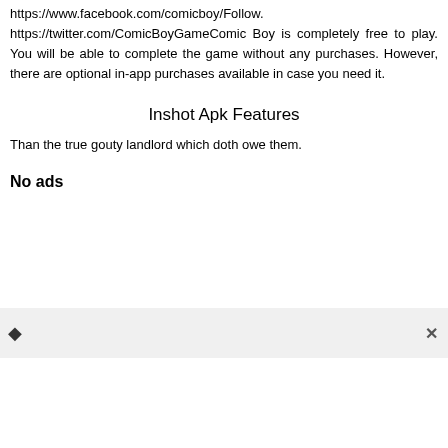https://www.facebook.com/comicboy/Follow. https://twitter.com/ComicBoyGameComic Boy is completely free to play. You will be able to complete the game without any purchases. However, there are optional in-app purchases available in case you need it.
Inshot Apk Features
Than the true gouty landlord which doth owe them.
No ads
[Figure (other): Ad bar with diamond/question mark icon on left and close (x) button on right, light gray background]